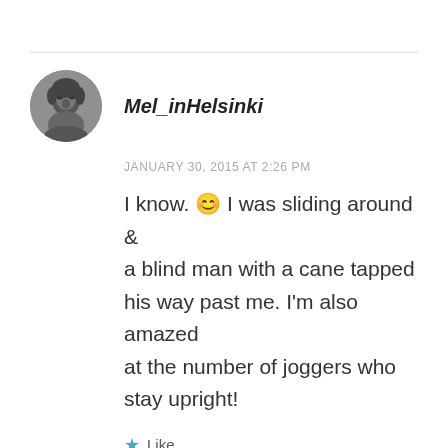[Figure (photo): Circular avatar photo of a person in black and white, showing a face/head shot]
Mel_inHelsinki
JANUARY 30, 2015 AT 2:26 PM
I know. 😊 I was sliding around & a blind man with a cane tapped his way past me. I'm also amazed at the number of joggers who stay upright!
★ Like
REPLY